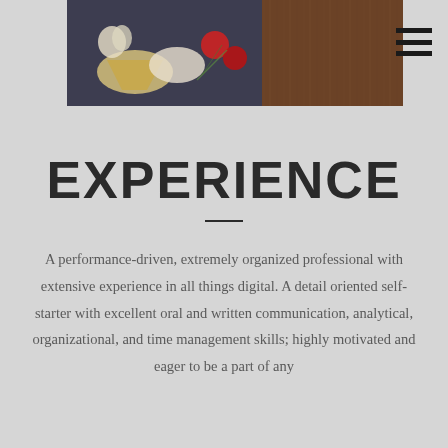[Figure (photo): Top portion of a resume/portfolio page showing a food photography header image with cheeses, tomatoes, garlic, and wooden cutting boards on a dark background, with a hamburger menu icon in the top right corner.]
EXPERIENCE
A performance-driven, extremely organized professional with extensive experience in all things digital. A detail oriented self-starter with excellent oral and written communication, analytical, organizational, and time management skills; highly motivated and eager to be a part of any